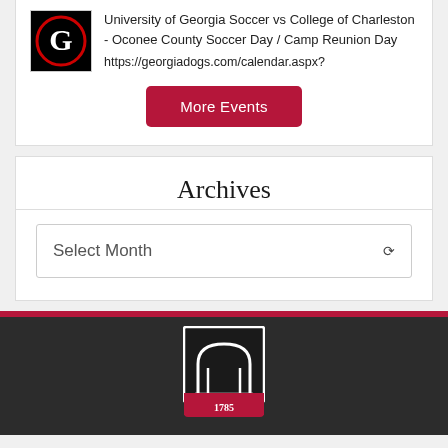[Figure (logo): UGA Bulldogs 'G' logo — black background with red circle outline and white G]
University of Georgia Soccer vs College of Charleston - Oconee County Soccer Day / Camp Reunion Day
https://georgiadogs.com/calendar.aspx?
More Events
Archives
Select Month
[Figure (logo): University of Georgia arch logo with '1785' text on dark background footer]